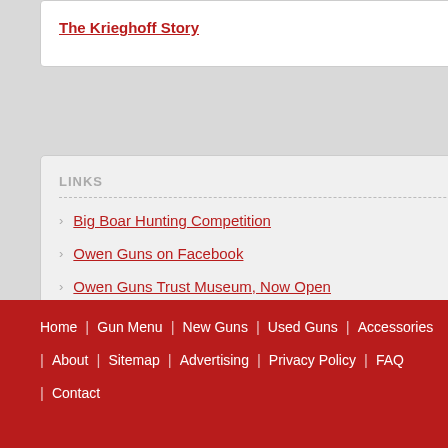The Krieghoff Story
LINKS
Big Boar Hunting Competition
Owen Guns on Facebook
Owen Guns Trust Museum, Now Open
Safety Courses
Home | Gun Menu | New Guns | Used Guns | Accessories | About | Sitemap | Advertising | Privacy Policy | FAQ | Contact